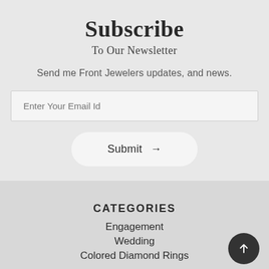Subscribe
To Our Newsletter
Send me Front Jewelers updates, and news.
Enter Your Email Id
Submit →
CATEGORIES
Engagement
Wedding
Colored Diamond Rings